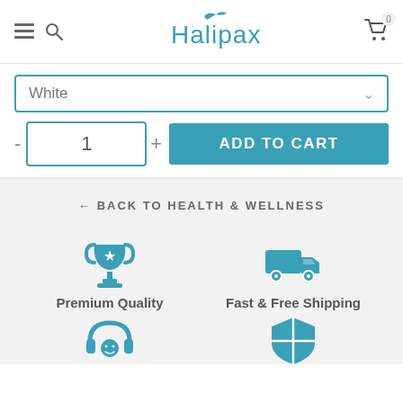Halipax
White
1 ADD TO CART
← BACK TO HEALTH & WELLNESS
[Figure (illustration): Trophy icon representing Premium Quality]
Premium Quality
[Figure (illustration): Delivery truck icon representing Fast & Free Shipping]
Fast & Free Shipping
[Figure (illustration): Headset/support icon]
[Figure (illustration): Shield icon]